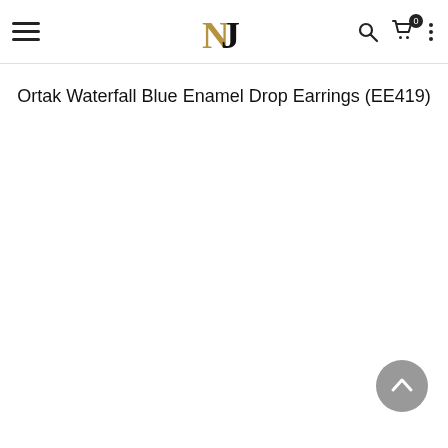NJ logo, hamburger menu, search, cart, more options
Ortak Waterfall Blue Enamel Drop Earrings (EE419)